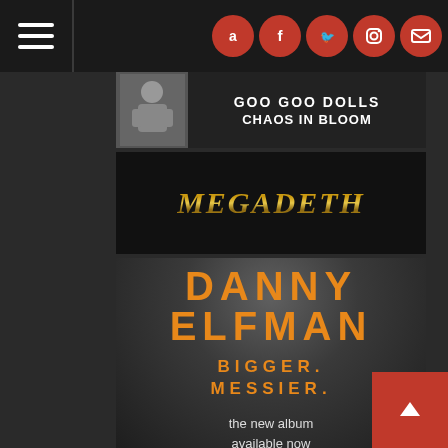[Figure (screenshot): Website navigation bar with hamburger menu icon and social media icons (Amazon, Facebook, Twitter, Instagram, Email) on dark background]
[Figure (infographic): Goo Goo Dolls - Chaos In Bloom album advertisement banner with figure and text]
[Figure (logo): Megadeth metallic gold logo on dark background]
[Figure (infographic): Danny Elfman 'Bigger. Messier.' new album advertisement. Includes KICK ME (FEAT. IGGY POP). Text: the new album available now, includes:]